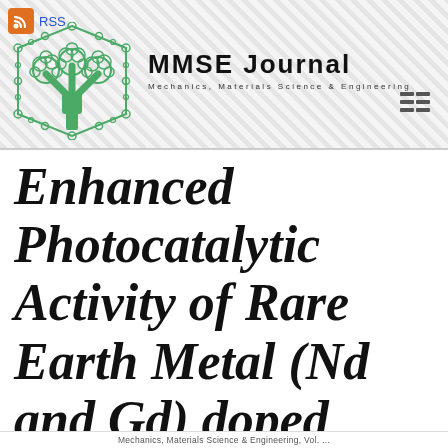MMSE Journal — Mechanics, Materials Science & Engineering
[Figure (logo): MMSE Journal logo: green fractal tree inside a hexagonal bubble border, with RSS feed icon and journal name 'MMSE JOURNAL — MECHANICS, MATERIALS SCIENCE & ENGINEERING']
Enhanced Photocatalytic Activity of Rare Earth Metal (Nd and Gd) doped ZnO Nanostructures
Mechanics, Materials Science & Engineering, Vol. ...